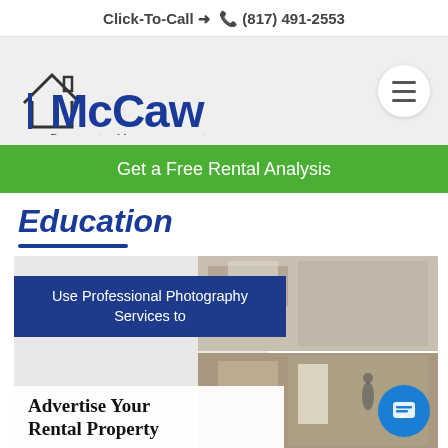Click-To-Call → 📞 (817) 491-2553
[Figure (logo): McCaw Property Management logo with house icon and blue stylized text]
Get a Free Rental Analysis
Education
[Figure (infographic): Article card: Use Professional Photography Services to Advertise Your Rental Property, with interior property photos on right side]